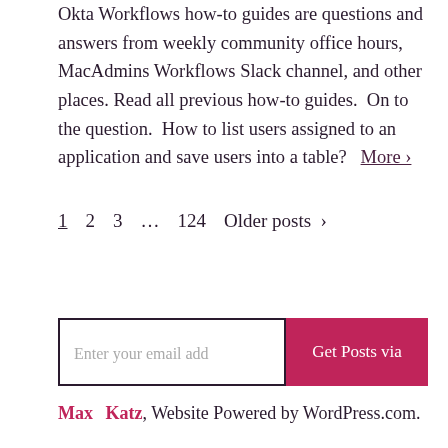Okta Workflows how-to guides are questions and answers from weekly community office hours, MacAdmins Workflows Slack channel, and other places. Read all previous how-to guides. On to the question. How to list users assigned to an application and save users into a table? More ›
1 2 3 ... 124 Older posts ›
Enter your email address | Get Posts via Email
Max Katz, Website Powered by WordPress.com.